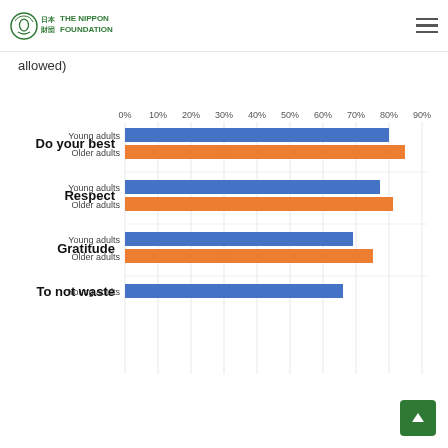The Nippon Foundation
allowed)
[Figure (grouped-bar-chart): ]